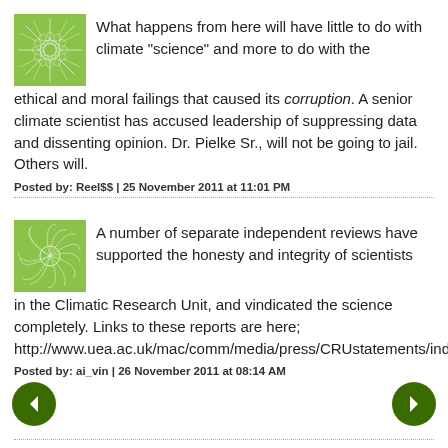What happens from here will have little to do with climate "science" and more to do with the ethical and moral failings that caused its corruption. A senior climate scientist has accused leadership of suppressing data and dissenting opinion. Dr. Pielke Sr., will not be going to jail. Others will.
Posted by: Reel$$ | 25 November 2011 at 11:01 PM
A number of separate independent reviews have supported the honesty and integrity of scientists in the Climatic Research Unit, and vindicated the science completely. Links to these reports are here; http://www.uea.ac.uk/mac/comm/media/press/CRUstatements/independentreviews
Posted by: ai_vin | 26 November 2011 at 08:14 AM